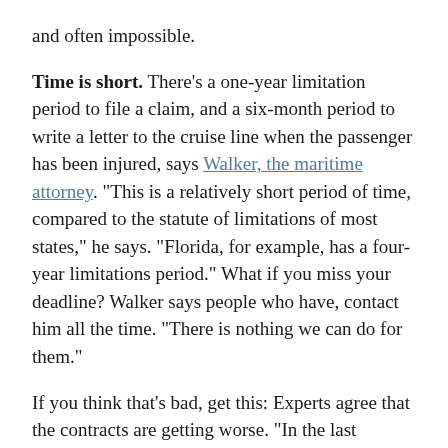and often impossible.
Time is short. There's a one-year limitation period to file a claim, and a six-month period to write a letter to the cruise line when the passenger has been injured, says Walker, the maritime attorney. "This is a relatively short period of time, compared to the statute of limitations of most states," he says. "Florida, for example, has a four-year limitations period." What if you miss your deadline? Walker says people who have, contact him all the time. "There is nothing we can do for them."
If you think that's bad, get this: Experts agree that the contracts are getting worse. "In the last decade, cruise lines have had to tighten the reins," says Bentz. "Contracts have gotten a little longer and a little less customer-friendly." That means we may one day look back on 2010 as a time